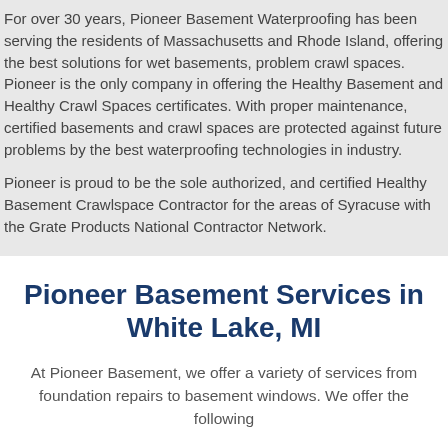For over 30 years, Pioneer Basement Waterproofing has been serving the residents of Massachusetts and Rhode Island, offering the best solutions for wet basements, problem crawl spaces. Pioneer is the only company in offering the Healthy Basement and Healthy Crawl Spaces certificates. With proper maintenance, certified basements and crawl spaces are protected against future problems by the best waterproofing technologies in industry.
Pioneer is proud to be the sole authorized, and certified Healthy Basement Crawlspace Contractor for the areas of Syracuse with the Grate Products National Contractor Network.
Pioneer Basement Services in White Lake, MI
At Pioneer Basement, we offer a variety of services from foundation repairs to basement windows. We offer the following services in your area: